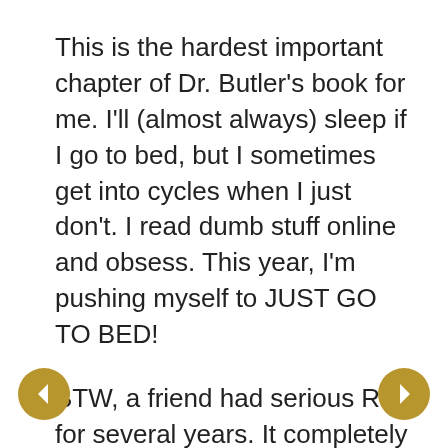This is the hardest important chapter of Dr. Butler's book for me. I'll (almost always) sleep if I go to bed, but I sometimes get into cycles when I just don't. I read dumb stuff online and obsess. This year, I'm pushing myself to JUST GO TO BED!
BTW, a friend had serious RLS for several years. It completely disrupted his life and his wife's. Then he was put on a new med for something else that required him to stop drinking alcohol. He wasn't a drunk; he just had several